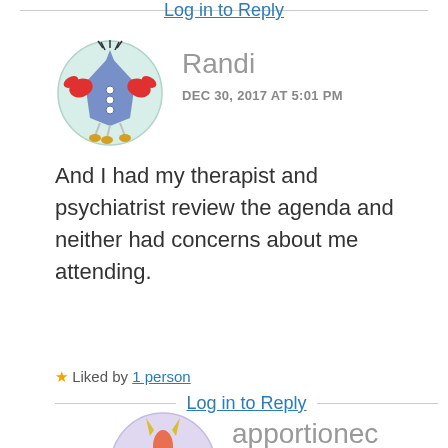Log in to Reply
[Figure (illustration): Circular avatar icon showing a cartoon crab-like creature with a blue arrow-shaped body, red claws, and yellow feet on a light teal background — username Randi]
Randi
DEC 30, 2017 AT 5:01 PM
And I had my therapist and psychiatrist review the agenda and neither had concerns about me attending.
Liked by 1 person
Log in to Reply
[Figure (illustration): Circular avatar icon showing a cartoon monster with red/pink starfish-like body, yellow horns, red claws — username apportioned]
apportioned
DEC 30, 2017 AT 5:27 PM